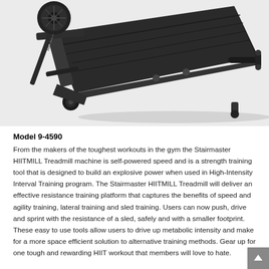[Figure (photo): Stairmaster HIITMILL Treadmill machine photographed at an angle on a light grey background, showing the dark grey/black self-powered treadmill with curved running deck, side rails, and wheel base.]
Model 9-4590
From the makers of the toughest workouts in the gym the Stairmaster HIITMILL Treadmill machine is self-powered speed and is a strength training tool that is designed to build an explosive power when used in High-Intensity Interval Training program. The Stairmaster HIITMILL Treadmill will deliver an effective resistance training platform that captures the benefits of speed and agility training, lateral training and sled training. Users can now push, drive and sprint with the resistance of a sled, safely and with a smaller footprint. These easy to use tools allow users to drive up metabolic intensity and make for a more space efficient solution to alternative training methods. Gear up for one tough and rewarding HIIT workout that members will love to hate.